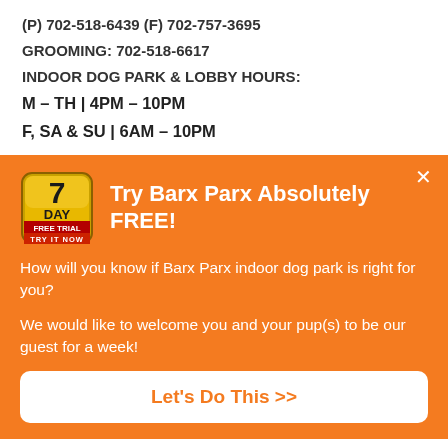(P) 702-518-6439 (F) 702-757-3695
GROOMING: 702-518-6617
INDOOR DOG PARK & LOBBY HOURS:
M – TH | 4PM – 10PM
F, SA & SU | 6AM – 10PM
[Figure (infographic): Orange promotional panel with a 7 Day Free Trial badge logo on the left and bold white text 'Try Barx Parx Absolutely FREE!' on the right, with a close (x) button. Body text: 'How will you know if Barx Parx indoor dog park is right for you? We would like to welcome you and your pup(s) to be our guest for a week!' and a white CTA button 'Let's Do This >>'.]